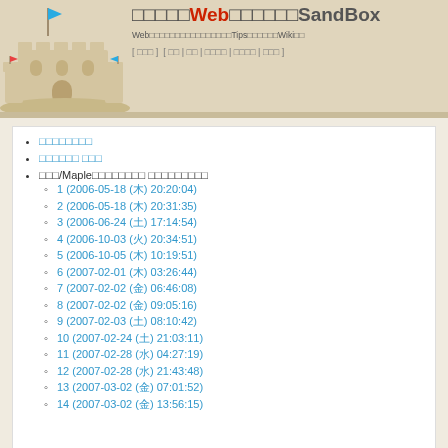Web SandBox - Japanese wiki/tips site header with sandcastle logo
Web Tips Wiki
日本語ページ一覧
最近の更新 一覧
数学/Mapleに関するページ 変更履歴一覧
1 (2006-05-18 (木) 20:20:04)
2 (2006-05-18 (木) 20:31:35)
3 (2006-06-24 (土) 17:14:54)
4 (2006-10-03 (火) 20:34:51)
5 (2006-10-05 (木) 10:19:51)
6 (2007-02-01 (木) 03:26:44)
7 (2007-02-02 (金) 06:46:08)
8 (2007-02-02 (金) 09:05:16)
9 (2007-02-03 (土) 08:10:42)
10 (2007-02-24 (土) 21:03:11)
11 (2007-02-28 (水) 04:27:19)
12 (2007-02-28 (水) 21:43:48)
13 (2007-03-02 (金) 07:01:52)
14 (2007-03-02 (金) 13:56:15)